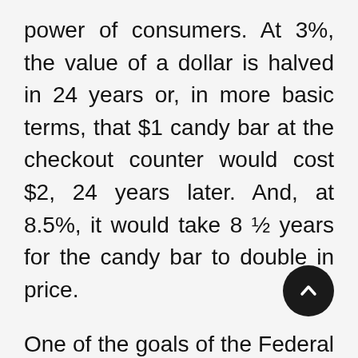power of consumers. At 3%, the value of a dollar is halved in 24 years or, in more basic terms, that $1 candy bar at the checkout counter would cost $2, 24 years later. And, at 8.5%, it would take 8 ½ years for the candy bar to double in price.
One of the goals of the Federal Reserve is to help ensure stable prices by limiting inflation. The Federal Reserve uses several tools to accomplish this, among these is the targeted federal funds rate. When the economy is too strong, the federal reserve will raise rates to reduce lending and thereby slow the economy and inflation and when the economy is too slow, it will lower rates to spur lending and thus speed up the economy. The federal funds rate also has an impact on the rates used by banks to lend money in the way of credit